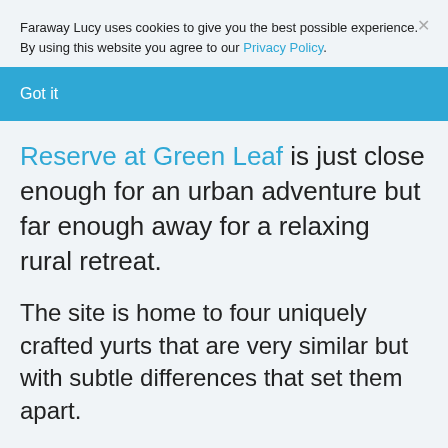Faraway Lucy uses cookies to give you the best possible experience. By using this website you agree to our Privacy Policy.
Got it
Reserve at Green Leaf is just close enough for an urban adventure but far enough away for a relaxing rural retreat.
The site is home to four uniquely crafted yurts that are very similar but with subtle differences that set them apart.
However, their beautiful interiors aren't the only reason to stay here.